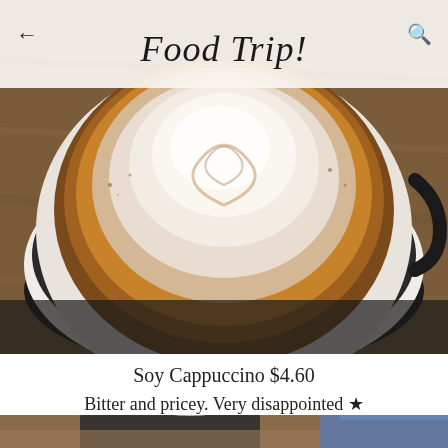Food Trip!
[Figure (photo): Overhead close-up view of a cappuccino in a white cup on a black saucer, showing swirled milk foam and espresso rings with cocoa dusting, placed on a wooden table.]
Soy Cappuccino $4.60
Bitter and pricey. Very disappointed ★
[Figure (photo): Partial view of a person with blonde hair sitting at a table, cropped at the bottom of the page.]